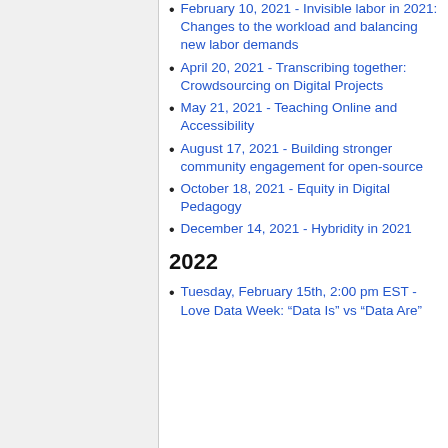February 10, 2021 - Invisible labor in 2021: Changes to the workload and balancing new labor demands
April 20, 2021 - Transcribing together: Crowdsourcing on Digital Projects
May 21, 2021 - Teaching Online and Accessibility
August 17, 2021 - Building stronger community engagement for open-source
October 18, 2021 - Equity in Digital Pedagogy
December 14, 2021 - Hybridity in 2021
2022
Tuesday, February 15th, 2:00 pm EST - Love Data Week: “Data Is” vs “Data Are”